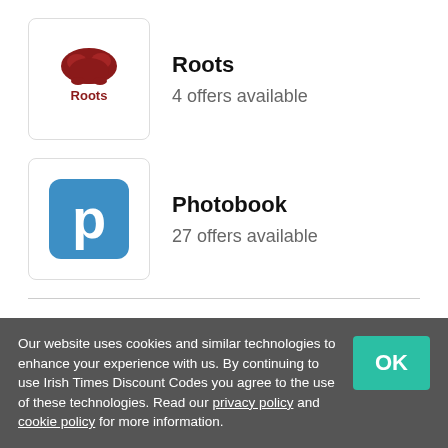[Figure (logo): Roots brand logo — red tree/beaver illustration above 'Roots' text in red]
Roots
4 offers available
[Figure (logo): Photobook logo — blue square with white lowercase 'p']
Photobook
27 offers available
Bloom Magic Flowers Offers
Codes  2
Deals  3
Our website uses cookies and similar technologies to enhance your experience with us. By continuing to use Irish Times Discount Codes you agree to the use of these technologies. Read our privacy policy and cookie policy for more information.